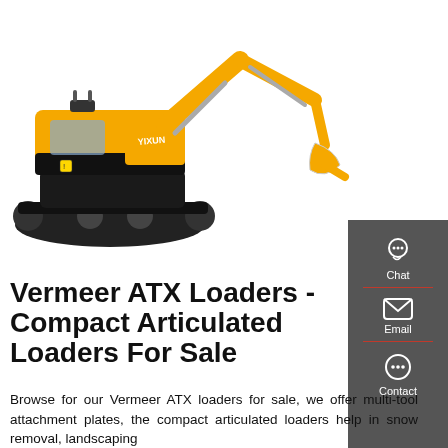[Figure (photo): Yellow and black mini excavator / compact tracked loader on white background, viewed from the front-right side, with boom arm raised and bucket visible.]
Vermeer ATX Loaders - Compact Articulated Loaders For Sale
Browse for our Vermeer ATX loaders for sale, we offer multi-tool attachment plates, the compact articulated loaders help in snow removal, landscaping